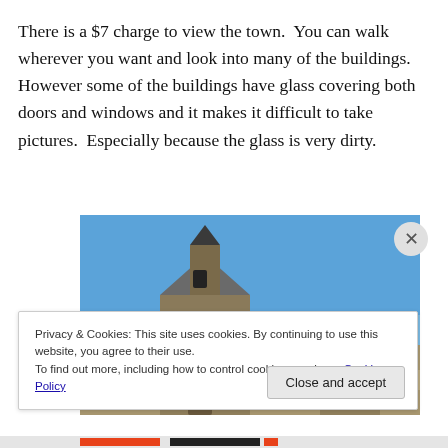There is a $7 charge to view the town.  You can walk wherever you want and look into many of the buildings.  However some of the buildings have glass covering both doors and windows and it makes it difficult to take pictures.  Especially because the glass is very dirty.
[Figure (photo): Photograph of historic old west ghost town buildings including a church with a bell tower against a clear blue sky.]
Privacy & Cookies: This site uses cookies. By continuing to use this website, you agree to their use.
To find out more, including how to control cookies, see here: Cookie Policy